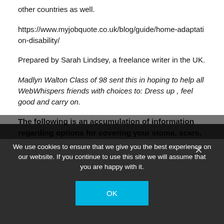other countries as well.
https://www.myjobquote.co.uk/blog/guide/home-adaptation-disability/
Prepared by Sarah Lindsey, a freelance writer in the UK.
Madlyn Walton Class of 98 sent this in hoping to help all WebWhispers friends with choices to: Dress up , feel good and carry on.
The following is an accumulation of information regarding options for covering your stoma, scars,
We use cookies to ensure that we give you the best experience on our website. If you continue to use this site we will assume that you are happy with it.
OK